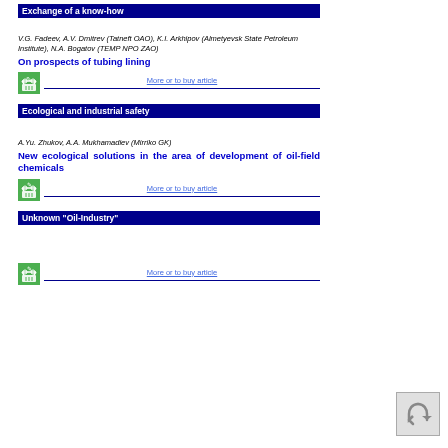Exchange of a know-how
V.G. Fadeev, A.V. Dmitrev (Tatneft OAO), K.I. Arkhipov (Almetyevsk State Petroleum Institute), N.A. Bogatov (TEMP NPO ZAO)
On prospects of tubing lining
More or to buy article
Ecological and industrial safety
A.Yu. Zhukov, A.A. Mukhamadiev (Mirriko GK)
New ecological solutions in the area of development of oil-field chemicals
More or to buy article
Unknown "Oil-Industry"
More or to buy article